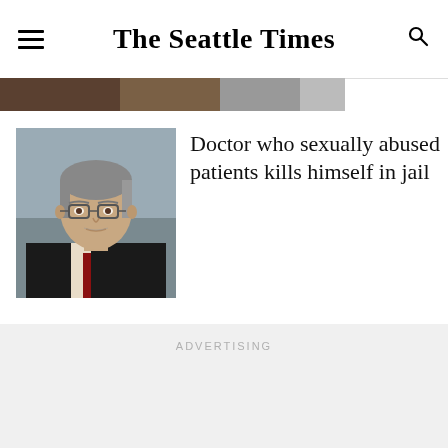The Seattle Times
[Figure (photo): Partially visible news article thumbnail image at top]
[Figure (photo): Headshot of male doctor wearing glasses and dark jacket]
Doctor who sexually abused patients kills himself in jail
[Figure (photo): Headshot of Afghan man with grey-streaked hair against blue-grey background]
Afghan refugee enters not guilty plea in Muslim slayings
ADVERTISING